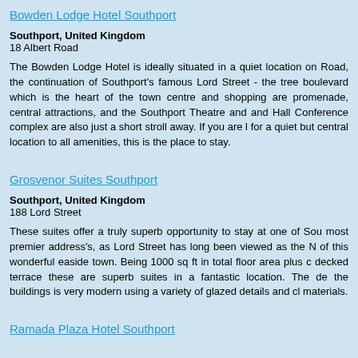Bowden Lodge Hotel Southport
Southport, United Kingdom
18 Albert Road
The Bowden Lodge Hotel is ideally situated in a quiet location on Road, the continuation of Southport's famous Lord Street - the tree boulevard which is the heart of the town centre and shopping are promenade, central attractions, and the Southport Theatre and and Hall Conference complex are also just a short stroll away. If you are l for a quiet but central location to all amenities, this is the place to stay.
Grosvenor Suites Southport
Southport, United Kingdom
188 Lord Street
These suites offer a truly superb opportunity to stay at one of Sou most premier address's, as Lord Street has long been viewed as the N of this wonderful easide town. Being 1000 sq ft in total floor area plus c decked terrace these are superb suites in a fantastic location. The de the buildings is very modern using a variety of glazed details and cl materials.
Ramada Plaza Hotel Southport